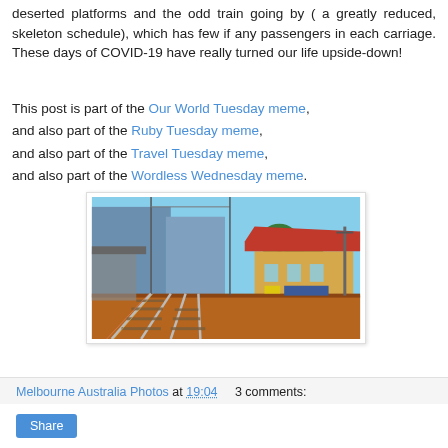deserted platforms and the odd train going by ( a greatly reduced, skeleton schedule), which has few if any passengers in each carriage. These days of COVID-19 have really turned our life upside-down!
This post is part of the Our World Tuesday meme, and also part of the Ruby Tuesday meme, and also part of the Travel Tuesday meme, and also part of the Wordless Wednesday meme.
[Figure (photo): A deserted train station platform with railway tracks in the foreground, a historic station building with a red roof on the right, trees and signage in the background. The platform appears empty.]
Melbourne Australia Photos at 19:04    3 comments:
Share